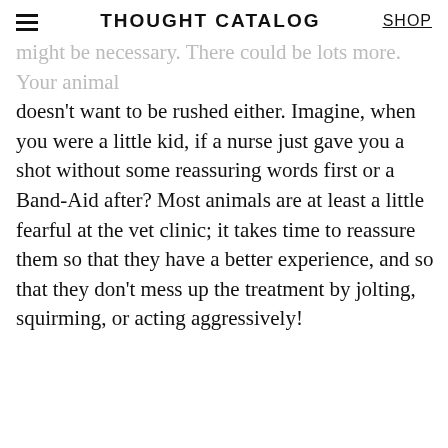THOUGHT CATALOG | SHOP
might be necessary. There could be lots more. Your animal doesn't want to be rushed either. Imagine, when you were a little kid, if a nurse just gave you a shot without some reassuring words first or a Band-Aid after? Most animals are at least a little fearful at the vet clinic; it takes time to reassure them so that they have a better experience, and so that they don't mess up the treatment by jolting, squirming, or acting aggressively!